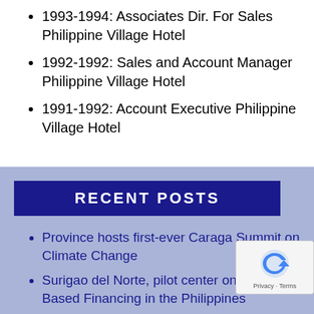1993-1994: Associates Dir. For Sales Philippine Village Hotel
1992-1992: Sales and Account Manager Philippine Village Hotel
1991-1992: Account Executive Philippine Village Hotel
RECENT POSTS
Province hosts first-ever Caraga Summit on Climate Change
Surigao del Norte, pilot center on Forecast-Based Financing in the Philippines
Online Executive and Legislative Agenda Workshop materializes via zoom
Province-wide Critiquing and Deliberation of the Local